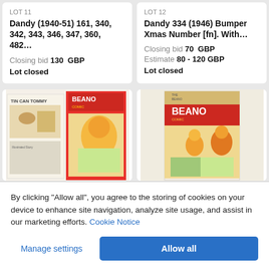LOT 11
Dandy (1940-51) 161, 340, 342, 343, 346, 347, 360, 482…
Closing bid 130 GBP
Lot closed
LOT 12
Dandy 334 (1946) Bumper Xmas Number [fn]. With…
Closing bid 70 GBP
Estimate 80 - 120 GBP
Lot closed
[Figure (photo): Beano comic pages open showing Tin Can Tommy and The Beano Comic covers]
[Figure (photo): The Beano Comic cover featuring Christmas characters]
By clicking "Allow all", you agree to the storing of cookies on your device to enhance site navigation, analyze site usage, and assist in our marketing efforts. Cookie Notice
Manage settings
Allow all